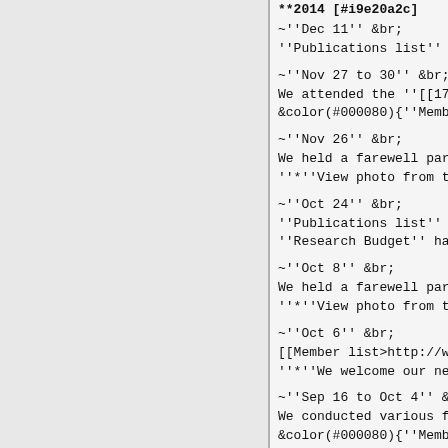**2014 [#i9e20a2c]
~''Dec 11'' &br;
''Publications list'' ha
~''Nov 27 to 30'' &br;
We attended the ''[[17th
&color(#000080){''Member
~''Nov 26'' &br;
We held a farewell party
''*''View photo from the
~''Oct 24'' &br;
''Publications list'' ha
''Research Budget'' has
~''Oct 8'' &br;
We held a farewell party
''*''View photo from the
~''Oct 6'' &br;
[[Member list>http://www
''*''We welcome our new
~''Sep 16 to Oct 4'' &br
We conducted various fie
&color(#000080){''Member
[*View story and photos
''*'''''More information